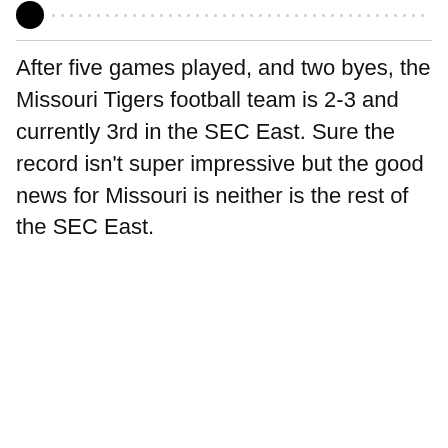After five games played, and two byes, the Missouri Tigers football team is 2-3 and currently 3rd in the SEC East. Sure the record isn't super impressive but the good news for Missouri is neither is the rest of the SEC East.